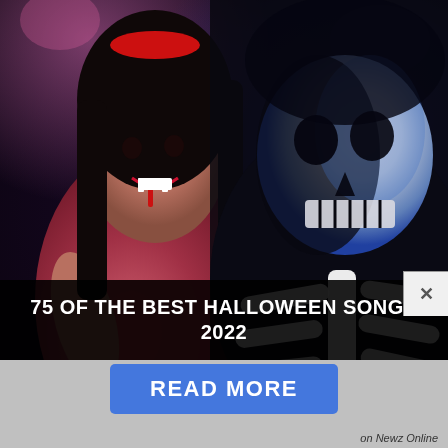[Figure (photo): Two people in Halloween costumes: a woman in red devil costume with vampire makeup and a man in skeleton face paint and black skeleton suit, at a Halloween party with purple/pink lighting]
75 OF THE BEST HALLOWEEN SONGS 2022
READ MORE
on Newz Online